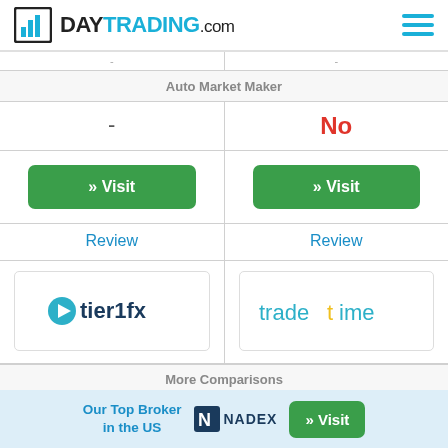DAYTRADING.com
| Tier1FX | TradeTime |
| --- | --- |
| Auto Market Maker | Auto Market Maker |
| - | No |
| » Visit | » Visit |
| Review | Review |
| [Tier1FX logo] | [TradeTime logo] |
More Comparisons
Tier1FX vs Select Broker..   TradeTime vs Select Broker..
Our Top Broker in the US  NADEX  » Visit